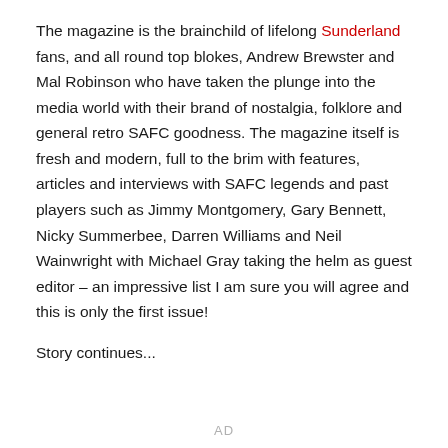The magazine is the brainchild of lifelong Sunderland fans, and all round top blokes, Andrew Brewster and Mal Robinson who have taken the plunge into the media world with their brand of nostalgia, folklore and general retro SAFC goodness. The magazine itself is fresh and modern, full to the brim with features, articles and interviews with SAFC legends and past players such as Jimmy Montgomery, Gary Bennett, Nicky Summerbee, Darren Williams and Neil Wainwright with Michael Gray taking the helm as guest editor – an impressive list I am sure you will agree and this is only the first issue!
Story continues...
AD